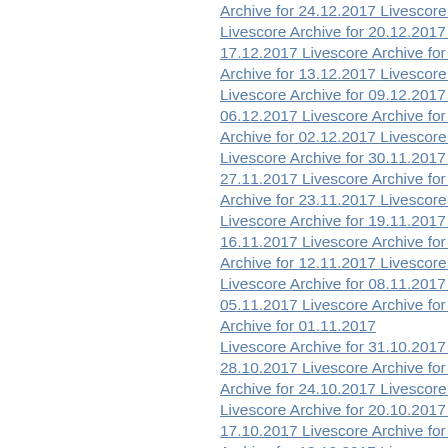Archive for 24.12.2017   Livescore Archive fo...
Livescore Archive for 20.12.2017   Livesco...
17.12.2017   Livescore Archive for 16.12.201...
Archive for 13.12.2017   Livescore Archive fo...
Livescore Archive for 09.12.2017   Livesco...
06.12.2017   Livescore Archive for 05.12.201...
Archive for 02.12.2017   Livescore Archive for...
Livescore Archive for 30.11.2017   Livesco...
27.11.2017   Livescore Archive for 26.11.201...
Archive for 23.11.2017   Livescore Archive fo...
Livescore Archive for 19.11.2017   Livesco...
16.11.2017   Livescore Archive for 15.11.201...
Archive for 12.11.2017   Livescore Archive fo...
Livescore Archive for 08.11.2017   Livesco...
05.11.2017   Livescore Archive for 04.11.201...
Archive for 01.11.2017
Livescore Archive for 31.10.2017   Livesco...
28.10.2017   Livescore Archive for 27.10.201...
Archive for 24.10.2017   Livescore Archive fo...
Livescore Archive for 20.10.2017   Livesco...
17.10.2017   Livescore Archive for 16.10.201...
Archive for 13.10.2017   Livescore Archive fo...
Livescore Archive for 09.10.2017   Livesco...
06.10.2017   Livescore Archive for 05.10.201...
Archive for 02.10.2017   Livescore Archive for...